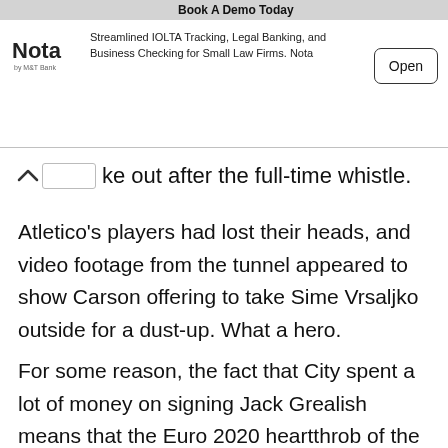[Figure (other): Advertisement banner for Nota by M&T Bank showing logo, tagline, and Open button with title 'Book A Demo Today']
…broke out after the full-time whistle.
Atletico's players had lost their heads, and video footage from the tunnel appeared to show Carson offering to take Sime Vrsaljko outside for a dust-up. What a hero.
For some reason, the fact that City spent a lot of money on signing Jack Grealish means that the Euro 2020 heartthrob of the nation now gets booed by home supporters whenever City play